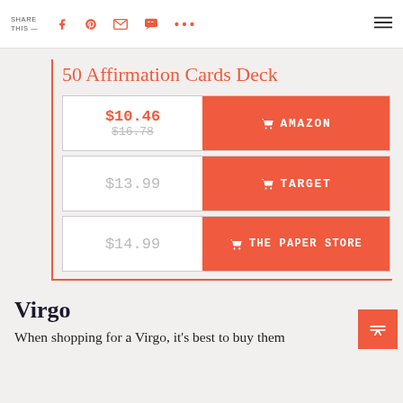SHARE THIS — [social icons: facebook, pinterest, email, message, more, menu]
50 Affirmation Cards Deck
| Price | Store |
| --- | --- |
| $10.46 / $16.78 | AMAZON |
| $13.99 | TARGET |
| $14.99 | THE PAPER STORE |
Virgo
When shopping for a Virgo, it's best to buy them